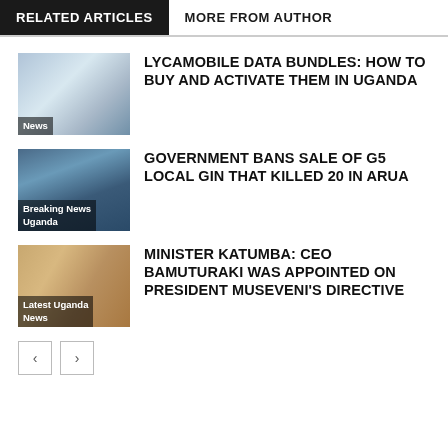RELATED ARTICLES | MORE FROM AUTHOR
[Figure (photo): Thumbnail image of SIM cards and globe, labeled 'News']
LYCAMOBILE DATA BUNDLES: HOW TO BUY AND ACTIVATE THEM IN UGANDA
[Figure (photo): Thumbnail image of local gin bottles, labeled 'Breaking News Uganda']
GOVERNMENT BANS SALE OF G5 LOCAL GIN THAT KILLED 20 IN ARUA
[Figure (photo): Thumbnail image of a man speaking, labeled 'Latest Uganda News']
MINISTER KATUMBA: CEO BAMUTURAKI WAS APPOINTED ON PRESIDENT MUSEVENI'S DIRECTIVE